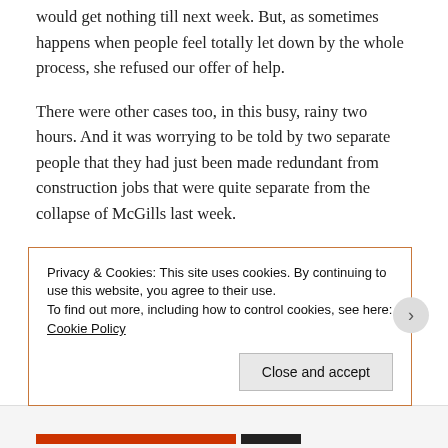would get nothing till next week. But, as sometimes happens when people feel totally let down by the whole process, she refused our offer of help.
There were other cases too, in this busy, rainy two hours. And it was worrying to be told by two separate people that they had just been made redundant from construction jobs that were quite separate from the collapse of McGills last week.
Privacy & Cookies: This site uses cookies. By continuing to use this website, you agree to their use.
To find out more, including how to control cookies, see here: Cookie Policy